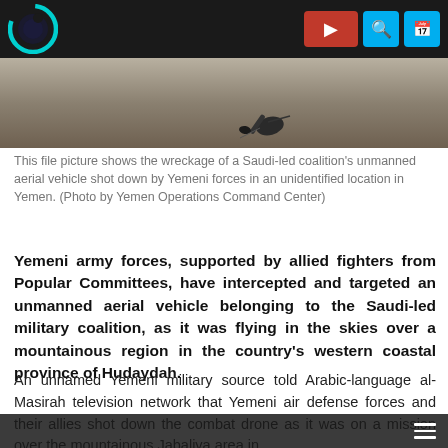[Figure (screenshot): Website navigation bar with logo (circle with dark interior), red play button, cyan search and calendar icons on dark background]
[Figure (photo): Video still or file photo showing wreckage of a Saudi-led coalition unmanned aerial vehicle (drone) on the ground in an unidentified location in Yemen]
This file picture shows the wreckage of a Saudi-led coalition's unmanned aerial vehicle shot down by Yemeni forces in an unidentified location in Yemen. (Photo by Yemen Operations Command Center)
Yemeni army forces, supported by allied fighters from Popular Committees, have intercepted and targeted an unmanned aerial vehicle belonging to the Saudi-led military coalition, as it was flying in the skies over a mountainous region in the country's western coastal province of Hudaydah.
An unnamed Yemeni military source told Arabic-language al-Masirah television network that Yemeni air defense forces and their allies shot down the combat drone as it was on a mission over the mountainous Jabaliya area in